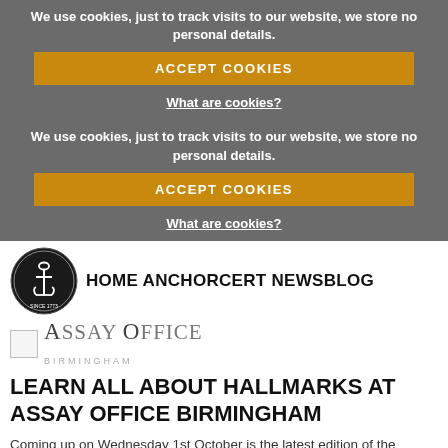We use cookies, just to track visits to our website, we store no personal details.
ACCEPT COOKIES
What are cookies?
We use cookies, just to track visits to our website, we store no personal details.
ACCEPT COOKIES
What are cookies?
[Figure (logo): Anchorcert circular logo with anchor symbol and text 'Since 1773']
HOME ANCHORCERT NEWSBLOG
[Figure (logo): Assay Office Birmingham logo with broken image placeholder]
LEARN ALL ABOUT HALLMARKS AT ASSAY OFFICE BIRMINGHAM
Coming up on Wednesday 1st October is the latest edition of the Understanding Hallmarking training